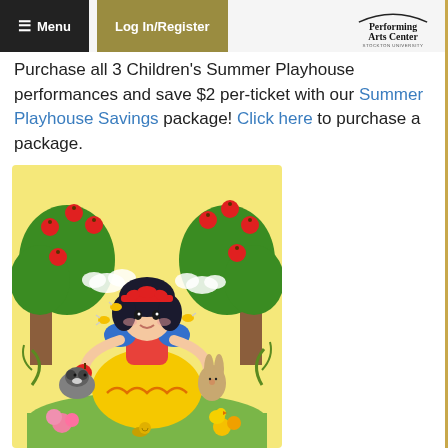≡ Menu  |  Log In/Register  |  Performing Arts Center [Stockton University]
Purchase all 3 Children's Summer Playhouse performances and save $2 per-ticket with our Summer Playhouse Savings package! Click here to purchase a package.
[Figure (illustration): Cartoon illustration of Snow White character in a yellow and blue dress holding a red apple, surrounded by forest animals (raccoon, rabbit, bird, snail), bees, flowers, and apple trees with red apples.]